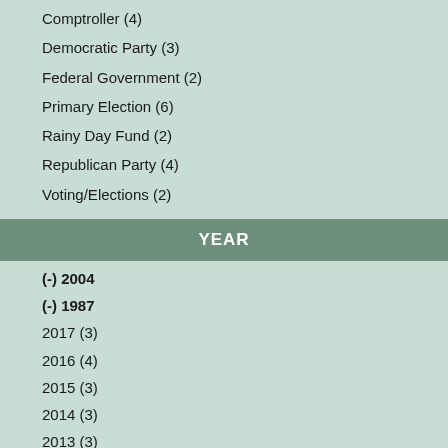Comptroller (4)
Democratic Party (3)
Federal Government (2)
Primary Election (6)
Rainy Day Fund (2)
Republican Party (4)
Voting/Elections (2)
YEAR
(-) 2004
(-) 1987
2017 (3)
2016 (4)
2015 (3)
2014 (3)
2013 (3)
2012 (5)
2011 (3)
2010 (3)